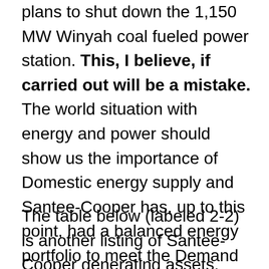plans to shut down the 1,150 MW Winyah coal fueled power station. This, I believe, if carried out will be a mistake. The world situation with energy and power should show us the importance of Domestic energy supply and Santee-Cooper has, up to this point, had a balanced energy portfolio to meet the Demand of the customers with affordable, reliable electricity supply. I have included references below of reasons why coal power is important.
The table below (labeled 2-2) is another listing of Santee-Cooper generating assets. This one is from a publicly available Black and Veatch